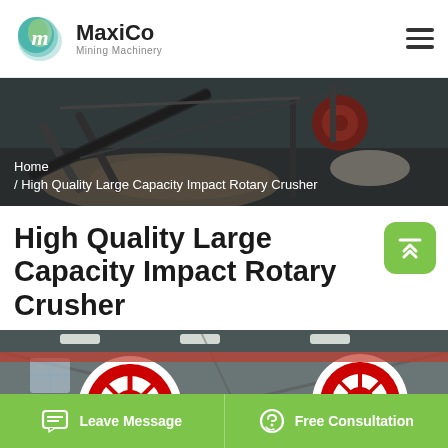MaxiCo Mining Machinery
[Figure (photo): Hero banner showing mining/crushing machinery on a conveyor belt with gravel, dark overlay with breadcrumb navigation text]
Home / High Quality Large Capacity Impact Rotary Crusher
High Quality Large Capacity Impact Rotary Crusher
[Figure (photo): Industrial factory interior showing large red and white rotary crusher wheels/flywheels with steel framework and overhead lighting]
Leave Message
Free Consultation